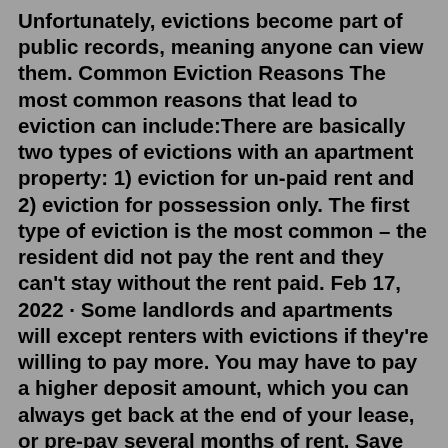Unfortunately, evictions become part of public records, meaning anyone can view them. Common Eviction Reasons The most common reasons that lead to eviction can include:There are basically two types of evictions with an apartment property: 1) eviction for un-paid rent and 2) eviction for possession only. The first type of eviction is the most common – the resident did not pay the rent and they can't stay without the rent paid. Feb 17, 2022 · Some landlords and apartments will except renters with evictions if they're willing to pay more. You may have to pay a higher deposit amount, which you can always get back at the end of your lease, or pre-pay several months of rent. Save up in advance of applying for units so you're prepared if needed. Aug 11, 2021 · Eviction is a word that both landlords and renters hope to never hear. Unfortunately, life can be unpredictable, making evictions a reality. For renters, evictions put their housing, public record, and finances in jeopardy. If you find yourself facing an